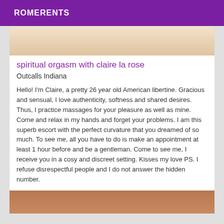ROMERENTS
[Figure (photo): Top portion of a photo, cropped, showing skin/person at top of listing card]
spiritual orgasm with claire la rose
Outcalls Indiana
Hello! I'm Claire, a pretty 26 year old American libertine. Gracious and sensual, I love authenticity, softness and shared desires. Thus, I practice massages for your pleasure as well as mine. Come and relax in my hands and forget your problems. I am this superb escort with the perfect curvature that you dreamed of so much. To see me, all you have to do is make an appointment at least 1 hour before and be a gentleman. Come to see me, I receive you in a cosy and discreet setting. Kisses my love PS. I refuse disrespectful people and I do not answer the hidden number.
[Figure (photo): Bottom partial photo showing another listing image]